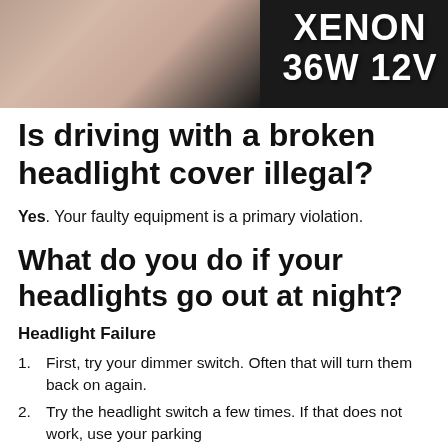[Figure (photo): Hand holding a xenon bulb against a dark background, with 'XENON 36W 12V' text overlaid in white bold font on the right side.]
Is driving with a broken headlight cover illegal?
Yes. Your faulty equipment is a primary violation.
What do you do if your headlights go out at night?
Headlight Failure
First, try your dimmer switch. Often that will turn them back on again.
Try the headlight switch a few times. If that does not work, use your parking